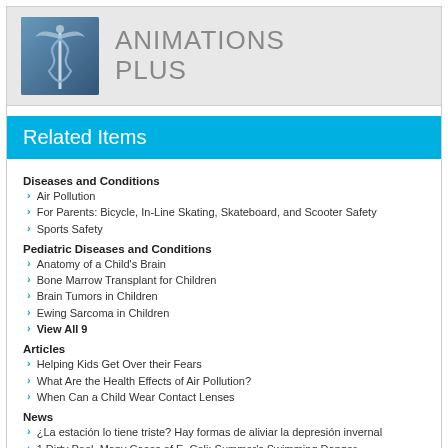[Figure (logo): Animations Plus logo with medical caduceus symbol in blue and gray text reading ANIMATIONS PLUS]
Related Items
Diseases and Conditions
Air Pollution
For Parents: Bicycle, In-Line Skating, Skateboard, and Scooter Safety
Sports Safety
Pediatric Diseases and Conditions
Anatomy of a Child's Brain
Bone Marrow Transplant for Children
Brain Tumors in Children
Ewing Sarcoma in Children
View All 9
Articles
Helping Kids Get Over their Fears
What Are the Health Effects of Air Pollution?
When Can a Child Wear Contact Lenses
News
¿La estación lo tiene triste? Hay formas de aliviar la depresión invernal
1 Dirty Pool, Many Cases of E. Coli: Summer's Swimming Danger